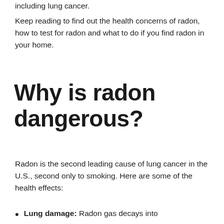including lung cancer.
Keep reading to find out the health concerns of radon, how to test for radon and what to do if you find radon in your home.
Why is radon dangerous?
Radon is the second leading cause of lung cancer in the U.S., second only to smoking. Here are some of the health effects:
Lung damage: Radon gas decays into